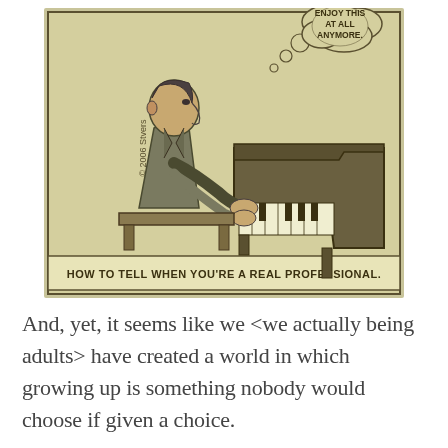[Figure (illustration): A cartoon/comic strip showing a man in a suit playing a grand piano. He has a thought bubble that reads 'ENJOY THIS AT ALL ANYMORE.' The caption at the bottom of the comic reads 'HOW TO TELL WHEN YOU'RE A REAL PROFESSIONAL.' The comic is signed '© 2006 Stvers' on the left side. The illustration uses muted olive/sepia tones.]
And, yet, it seems like we <we actually being adults> have created a world in which growing up is something nobody would choose if given a choice.
We suggest the best years of your life